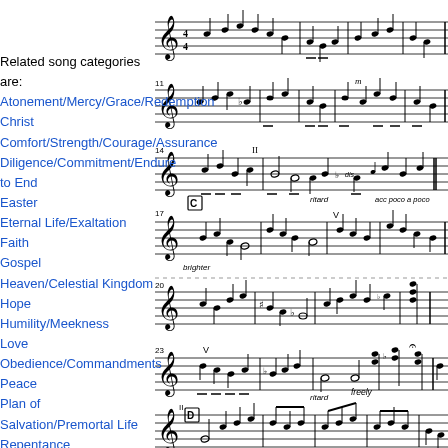[Figure (illustration): Sheet music notation — multiple staves with musical notes, time signatures, dynamic markings, and performance instructions including 'ritard', 'acc poco a poco', 'brighter', 'freely'. Measure numbers visible: 11, 14, 17, 20, 23, and section markers C and D.]
Related song categories are: Atonement/Mercy/Grace/Redemption Christ Comfort/Strength/Courage/Assurance Diligence/Commitment/Endure to End Easter Eternal Life/Exaltation Faith Gospel Heaven/Celestial Kingdom Hope Humility/Meekness Love Obedience/Commandments Peace Plan of Salvation/Premortal Life Repentance